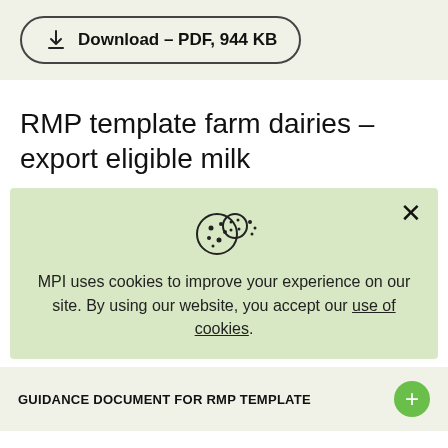[Figure (screenshot): Download button with download icon: 'Download – PDF, 944 KB']
RMP template farm dairies – export eligible milk
MPI uses cookies to improve your experience on our site. By using our website, you accept our use of cookies.
GUIDANCE DOCUMENT FOR RMP TEMPLATE